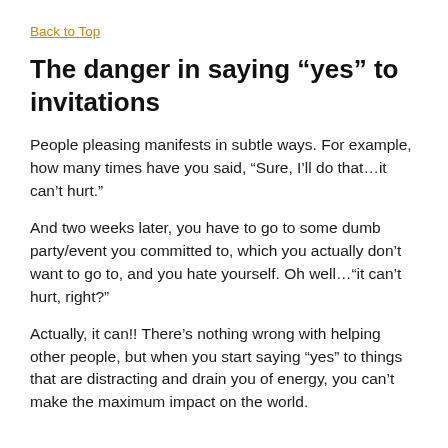Back to Top
The danger in saying “yes” to invitations
People pleasing manifests in subtle ways. For example, how many times have you said, “Sure, I’ll do that…it can’t hurt.”
And two weeks later, you have to go to some dumb party/event you committed to, which you actually don’t want to go to, and you hate yourself. Oh well…“it can’t hurt, right?”
Actually, it can!! There’s nothing wrong with helping other people, but when you start saying “yes” to things that are distracting and drain you of energy, you can’t make the maximum impact on the world.